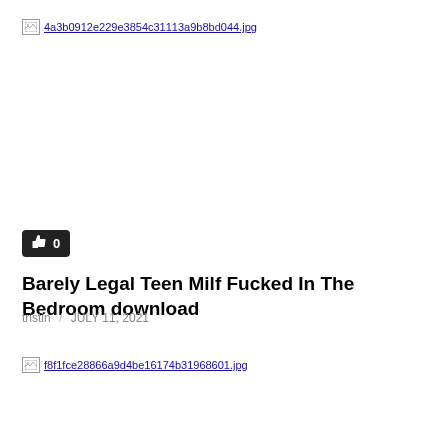[Figure (other): Broken image placeholder with filename 4a3b0912e229e3854c31113a9b8bd044.jpg]
[Figure (other): Like button showing count 0]
Barely Legal Teen Milf Fucked In The Bedroom download
tristin / JULY 11, 2021
[Figure (other): Broken image placeholder with filename f8f1fce28866a9d4be16174b31968601.jpg]